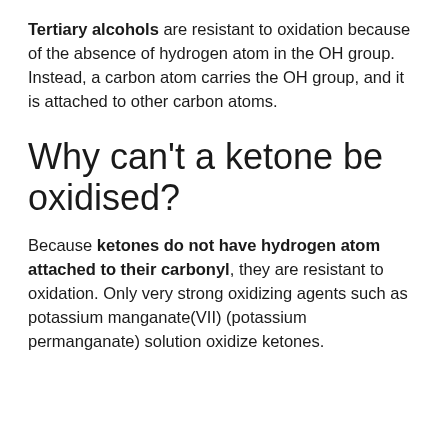Tertiary alcohols are resistant to oxidation because of the absence of hydrogen atom in the OH group. Instead, a carbon atom carries the OH group, and it is attached to other carbon atoms.
Why can't a ketone be oxidised?
Because ketones do not have hydrogen atom attached to their carbonyl, they are resistant to oxidation. Only very strong oxidizing agents such as potassium manganate(VII) (potassium permanganate) solution oxidize ketones.